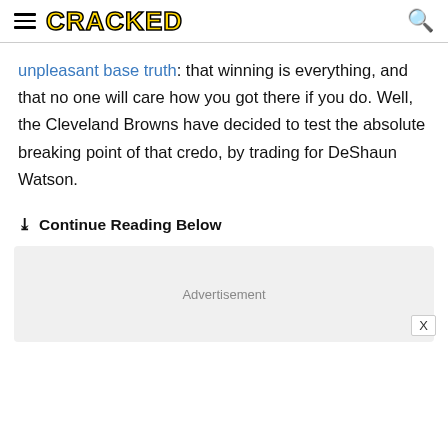CRACKED
unpleasant base truth: that winning is everything, and that no one will care how you got there if you do. Well, the Cleveland Browns have decided to test the absolute breaking point of that credo, by trading for DeShaun Watson.
Continue Reading Below
[Figure (other): Advertisement placeholder box with 'Advertisement' label and close button X]